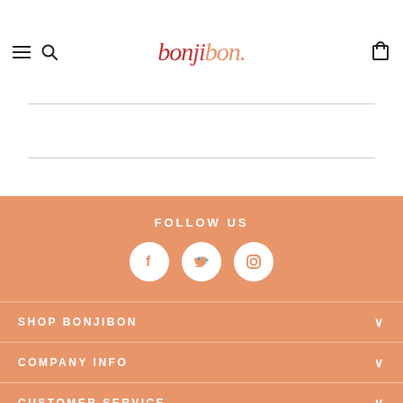[Figure (logo): bonjibon. logo in red and salmon/peach colored italic serif font]
FOLLOW US
[Figure (infographic): Three white circular social media icons: Facebook, Twitter, Instagram on salmon/peach background]
SHOP BONJIBON
COMPANY INFO
CUSTOMER SERVICE